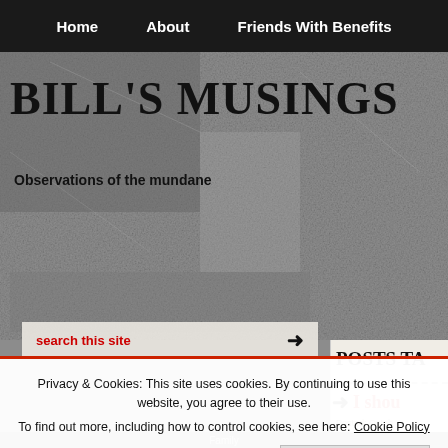Home | About | Friends With Benefits
BILL'S MUSINGS
Observations of the mundane
[Figure (screenshot): Grainy black and white textured background image]
search this site
POSTS TA
I shou
Posted: Octob
Tags: Amber
Privacy & Cookies: This site uses cookies. By continuing to use this website, you agree to their use.
To find out more, including how to control cookies, see here: Cookie Policy
Close and accept
Family